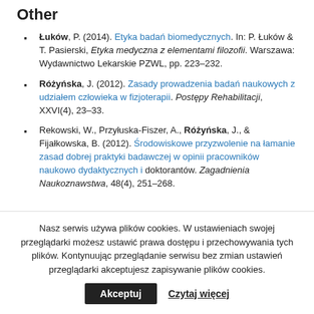Other
Łuków, P. (2014). Etyka badań biomedycznych. In: P. Łuków & T. Pasierski, Etyka medyczna z elementami filozofii. Warszawa: Wydawnictwo Lekarskie PZWL, pp. 223–232.
Różyńska, J. (2012). Zasady prowadzenia badań naukowych z udziałem człowieka w fizjoterapii. Postępy Rehabilitacji, XXVI(4), 23–33.
Rekowski, W., Przyłuska-Fiszer, A., Różyńska, J., & Fijałkowska, B. (2012). Środowiskowe przyzwolenie na łamanie zasad dobrej praktyki badawczej w opinii pracowników naukowo dydaktycznych i doktorantów. Zagadnienia Naukoznawstwa, 48(4), 251–268.
Nasz serwis używa plików cookies. W ustawieniach swojej przeglądarki możesz ustawić prawa dostępu i przechowywania tych plików. Kontynuując przeglądanie serwisu bez zmian ustawień przeglądarki akceptujesz zapisywanie plików cookies.